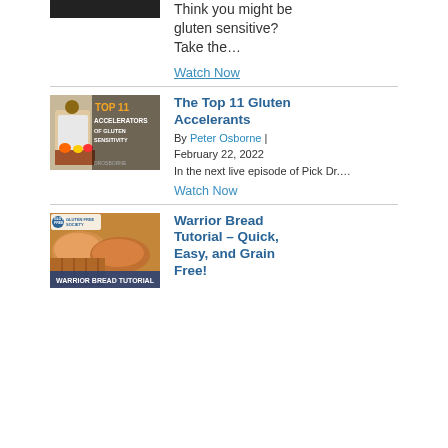Think you might be gluten sensitive? Take the…
Watch Now
[Figure (photo): Thumbnail image for The Top 11 Gluten Accelerators video showing a woman in workout clothes with text 'TOP 11 ACCELERATORS OF GLUTEN SENSITIVITY']
The Top 11 Gluten Accelerants
By Peter Osborne | February 22, 2022
In the next live episode of Pick Dr....
Watch Now
[Figure (photo): Thumbnail image for Warrior Bread Tutorial showing bread loaves with 'GLUTEN FREE SOCIETY' logo and text 'WARRIOR BREAD TUTORIAL']
Warrior Bread Tutorial – Quick, Easy, and Grain Free!